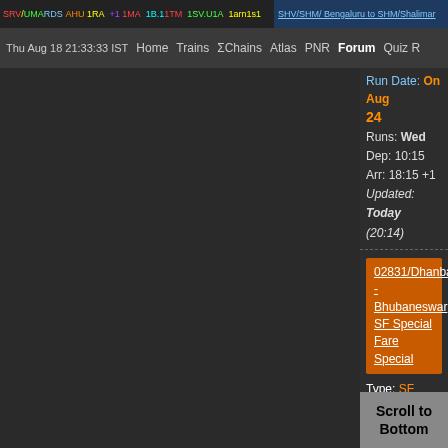Thu Aug 18 21:33:33 IST  Home  Trains  ΣChains  Atlas  PNR  Forum  Quiz
Run Date: SHE: On Aug 24
Runs: Wed
Dep: 10:15  Arr: 18:15 +1
Updated: Today (20:14)
02831/Dhanbad - Bhubaneswar SF Special Fare Special
Type: SF
DHN/Dhanbad Junction to BBS/Bhubaneswar
Run Dates: Aug 24 to Sep 28
Runs: Mon,Wed,Sat
Dep: 16:00  Arr: 07:45 +1
Updated: Today (18:37)
02832/Bhubaneswar - Dhanbad SF Special Fare Special
Type: S